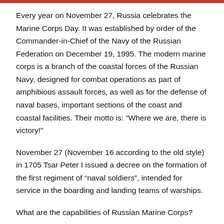Every year on November 27, Russia celebrates the Marine Corps Day. It was established by order of the Commander-in-Chief of the Navy of the Russian Federation on December 19, 1995. The modern marine corps is a branch of the coastal forces of the Russian Navy, designed for combat operations as part of amphibious assault forces, as well as for the defense of naval bases, important sections of the coast and coastal facilities. Their motto is: “Where we are, there is victory!”
November 27 (November 16 according to the old style) in 1705 Tsar Peter I issued a decree on the formation of the first regiment of “naval soldiers”, intended for service in the boarding and landing teams of warships.
What are the capabilities of Russian Marine Corps?